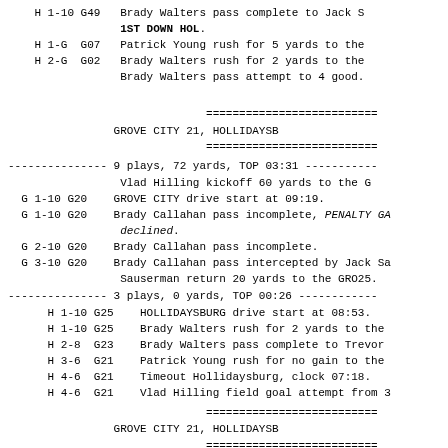H 1-10 G49   Brady Walters pass complete to Jack S... 1ST DOWN HOL.
H 1-G  G07   Patrick Young rush for 5 yards to the
H 2-G  G02   Brady Walters rush for 2 yards to the Brady Walters pass attempt to 4 good.
GROVE CITY 21, HOLLIDAYSB
9 plays, 72 yards, TOP 03:31
Vlad Hilling kickoff 60 yards to the G
G 1-10 G20   GROVE CITY drive start at 09:19.
G 1-10 G20   Brady Callahan pass incomplete, PENALTY GA declined.
G 2-10 G20   Brady Callahan pass incomplete.
G 3-10 G20   Brady Callahan pass intercepted by Jack Sa Sauserman return 20 yards to the GRO25.
3 plays, 0 yards, TOP 00:26
H 1-10 G25   HOLLIDAYSBURG drive start at 08:53.
H 1-10 G25   Brady Walters rush for 2 yards to the
H 2-8  G23   Brady Walters pass complete to Trevor
H 3-6  G21   Patrick Young rush for no gain to the
H 4-6  G21   Timeout Hollidaysburg, clock 07:18.
H 4-6  G21   Vlad Hilling field goal attempt from 3
GROVE CITY 21, HOLLIDAYSB